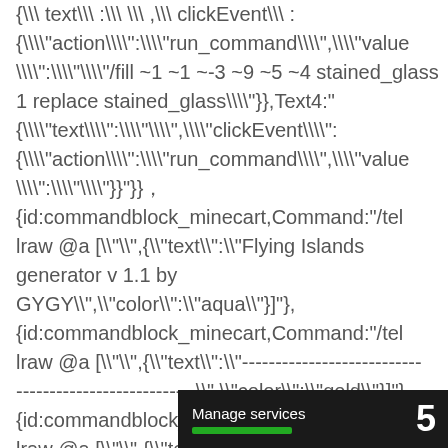{\\ text\\ :\\ \\ ,\\ clickEvent\\ : {\\ action\\ :\\ run_command\\ ,\\ value\\ :\\ /fill ~1 ~1 ~-3 ~9 ~5 ~4 stained_glass 1 replace stained_glass\\ }},Text4: {\\ text\\ :\\ \\ ,\\ clickEvent\\ : {\\ action\\ :\\ run_command\\ ,\\ value\\ :\\ \\ }},
{id:commandblock_minecart,Command:"/tellraw @a [\"\" ,{\"text\":\"Flying Islands generator v 1.1 by GYGY\" ,\"color\":\"aqua\"}]"},
{id:commandblock_minecart,Command:"/tellraw @a [\"\" ,{\"text\":\"--------------------------------------------------\" ,\"color\":\"gold\"}]"},
{id:commandblock_minecart,Command:"/tellraw @a [\"\" ,{\"text\":\"Don't spam this command as your own one, and if you are a youtuber credit me and leave a link to my channel.\" ,\"color\":\"aqua\"}]"}
Manage services